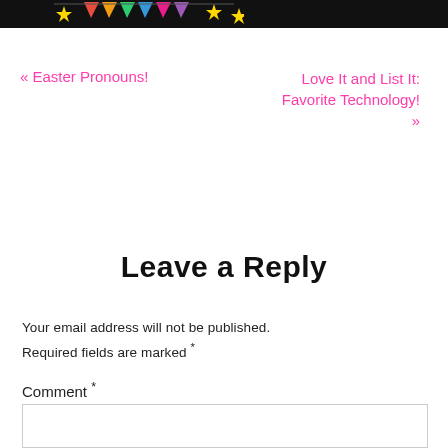[Figure (illustration): Colorful party banner/bunting logo at top of page on dark bar]
« Easter Pronouns!
Love It and List It: Favorite Technology! »
Leave a Reply
Your email address will not be published. Required fields are marked *
Comment *